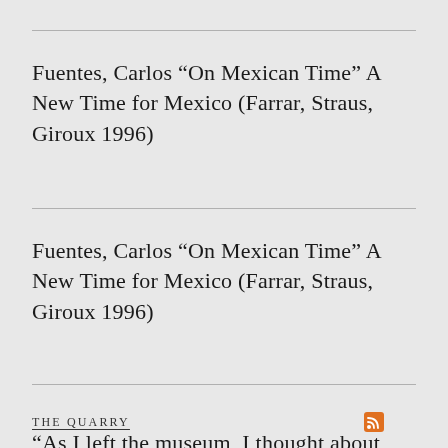Fuentes, Carlos “On Mexican Time” A New Time for Mexico (Farrar, Straus, Giroux 1996)
Fuentes, Carlos “On Mexican Time” A New Time for Mexico (Farrar, Straus, Giroux 1996)
THE QUARRY
“As I left the museum, I thought about how